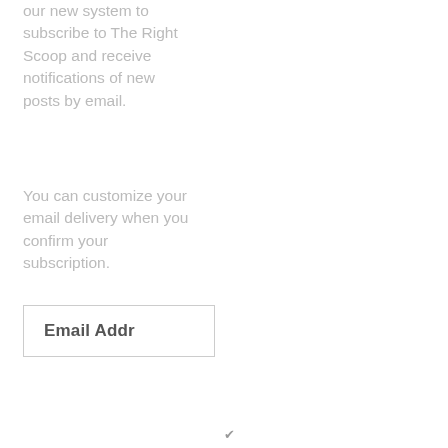our new system to subscribe to The Right Scoop and receive notifications of new posts by email.
You can customize your email delivery when you confirm your subscription.
Email Address